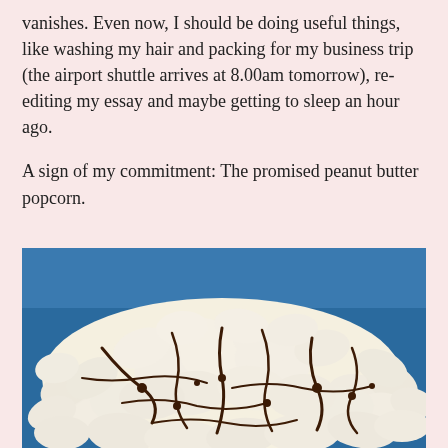vanishes. Even now, I should be doing useful things, like washing my hair and packing for my business trip (the airport shuttle arrives at 8.00am tomorrow), re-editing my essay and maybe getting to sleep an hour ago.

A sign of my commitment: The promised peanut butter popcorn.
[Figure (photo): A close-up photo of peanut butter popcorn drizzled with chocolate sauce, piled in a blue bowl.]